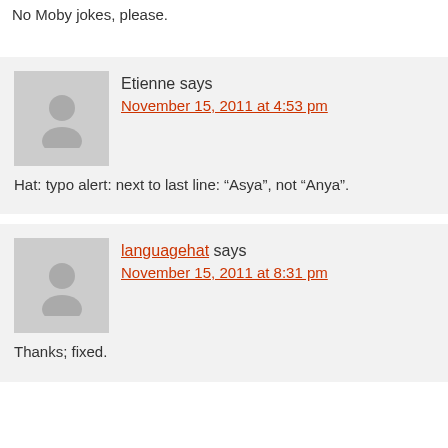No Moby jokes, please.
Etienne says
November 15, 2011 at 4:53 pm
Hat: typo alert: next to last line: “Asya”, not “Anya”.
languagehat says
November 15, 2011 at 8:31 pm
Thanks; fixed.